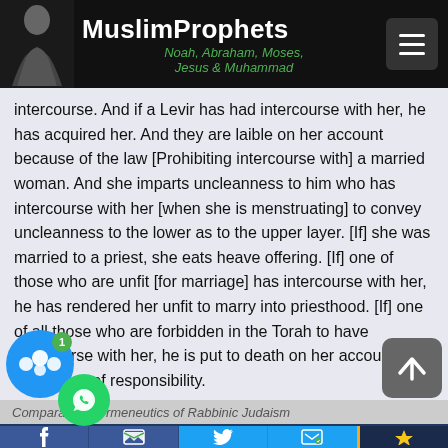MuslimProphets – Noah, Abraham, Moses, Jesus & Muhammad
intercourse. And if a Levir has had intercourse with her, he has acquired her. And they are laible on her account because of the law [Prohibiting intercourse with] a married woman. And she imparts uncleanness to him who has intercourse with her [when she is menstruating] to convey uncleanness to the lower as to the upper layer. [If] she was married to a priest, she eats heave offering. [If] one of those who are unfit [for marriage] has intercourse with her, he has rendered her unfit to marry into priesthood. [If] one of all those who are forbidden in the Torah to have intercourse with her, he is put to death on her account, but she is free of responsibility.
Comparative Hermeneutics of Rabbinic Judaism